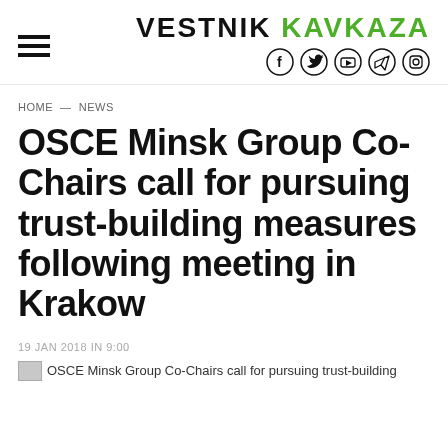VESTNIK KAVKAZA
HOME — NEWS
OSCE Minsk Group Co-Chairs call for pursuing trust-building measures following meeting in Krakow
19 JAN 2018 IN 9:00
OSCE Minsk Group Co-Chairs call for pursuing trust-building